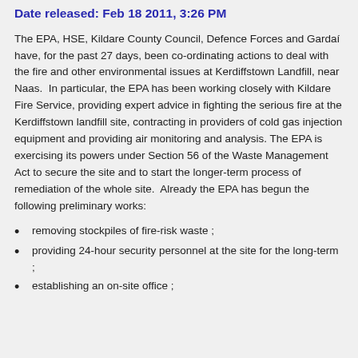Date released: Feb 18 2011, 3:26 PM
The EPA, HSE, Kildare County Council, Defence Forces and Gardaí have, for the past 27 days, been co-ordinating actions to deal with the fire and other environmental issues at Kerdiffstown Landfill, near Naas.  In particular, the EPA has been working closely with Kildare Fire Service, providing expert advice in fighting the serious fire at the Kerdiffstown landfill site, contracting in providers of cold gas injection equipment and providing air monitoring and analysis. The EPA is exercising its powers under Section 56 of the Waste Management Act to secure the site and to start the longer-term process of remediation of the whole site.  Already the EPA has begun the following preliminary works:
removing stockpiles of fire-risk waste ;
providing 24-hour security personnel at the site for the long-term ;
establishing an on-site office ;